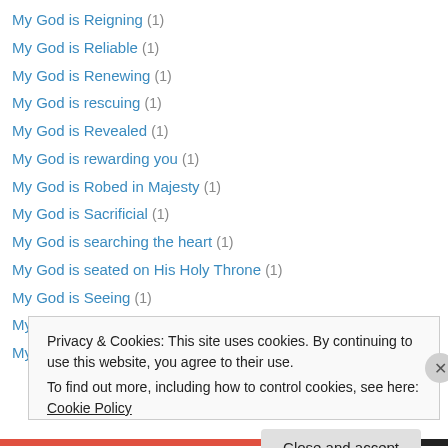My God is Reigning (1)
My God is Reliable (1)
My God is Renewing (1)
My God is rescuing (1)
My God is Revealed (1)
My God is rewarding you (1)
My God is Robed in Majesty (1)
My God is Sacrificial (1)
My God is searching the heart (1)
My God is seated on His Holy Throne (1)
My God is Seeing (1)
My God is Served (1)
My God is setting us free (1)
Privacy & Cookies: This site uses cookies. By continuing to use this website, you agree to their use. To find out more, including how to control cookies, see here: Cookie Policy